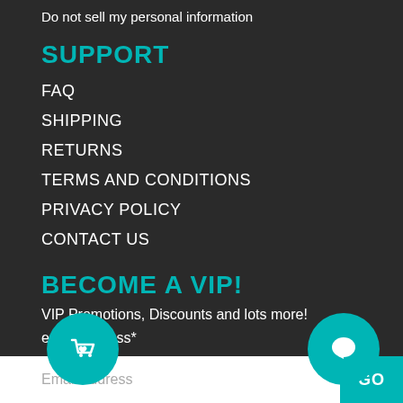Do not sell my personal information
SUPPORT
FAQ
SHIPPING
RETURNS
TERMS AND CONDITIONS
PRIVACY POLICY
CONTACT US
BECOME A VIP!
VIP Promotions, Discounts and lots more!
email address*
[Figure (other): Teal circular shopping bag with heart icon button]
[Figure (other): Teal circular chat bubble icon button]
Email address
GO